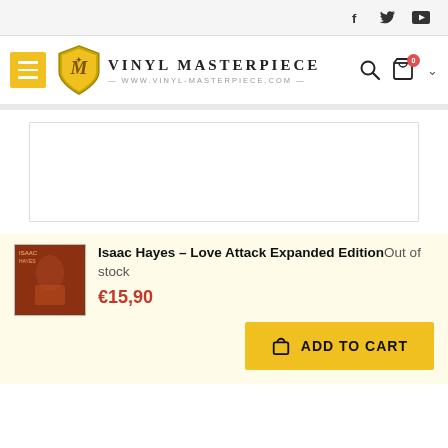Social icons: Facebook, Twitter, YouTube
[Figure (logo): Vinyl Masterpiece logo with shield emblem, brand name 'VINYL MASTERPIECE' and URL www.vinyl-masterpiece.com]
[Figure (other): Advertisement or content placeholder box (empty white bordered rectangle)]
[Figure (photo): Album cover thumbnail for Isaac Hayes – Love Attack Expanded Edition, showing Isaac Hayes in red]
Isaac Hayes – Love Attack Expanded EditionOut of stock
€15,90
ADD TO CART